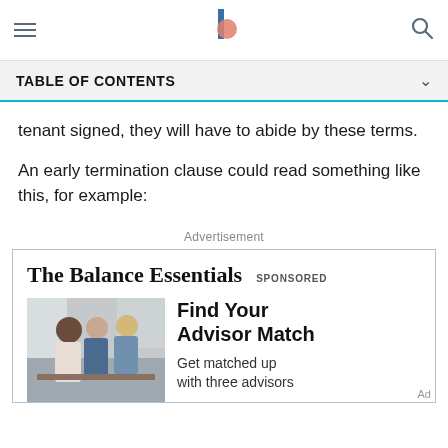TABLE OF CONTENTS
tenant signed, they will have to abide by these terms.
An early termination clause could read something like this, for example:
Advertisement
[Figure (other): Advertisement for The Balance Essentials showing a photo of three people in a meeting and text 'Find Your Advisor Match - Get matched up with three advisors'. Labeled SPONSORED.]